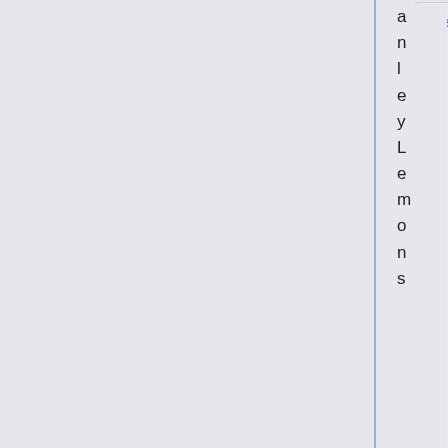[Figure (screenshot): UI panel showing ontology property 'hasContributor' as a card with blue label text on light gray background, with vertical sidebar text reading 'anleyLemons' and '0 refere...' on the right side]
hasContributor
[Figure (screenshot): UI panel showing ontology property 'hasExternalReference' as a card with blue label text, a sort/filter icon, and sidebar text 'http...' partially visible on right]
hasExternalReference